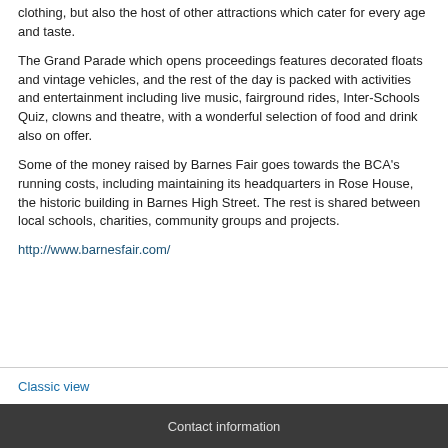clothing, but also the host of other attractions which cater for every age and taste.
The Grand Parade which opens proceedings features decorated floats and vintage vehicles, and the rest of the day is packed with activities and entertainment including live music, fairground rides, Inter-Schools Quiz, clowns and theatre, with a wonderful selection of food and drink also on offer.
Some of the money raised by Barnes Fair goes towards the BCA's running costs, including maintaining its headquarters in Rose House, the historic building in Barnes High Street. The rest is shared between local schools, charities, community groups and projects.
http://www.barnesfair.com/
Classic view
Contact information